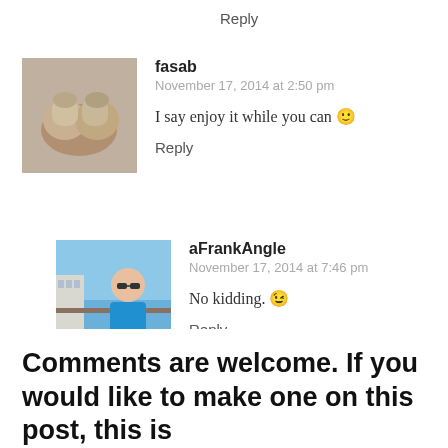Reply
fasab
November 17, 2014 at 2:50 pm

I say enjoy it while you can 🙂

Reply
aFrankAngle
November 17, 2014 at 7:46 pm

No kidding. 😉

Reply
Comments are welcome. If you would like to make one on this post, this is